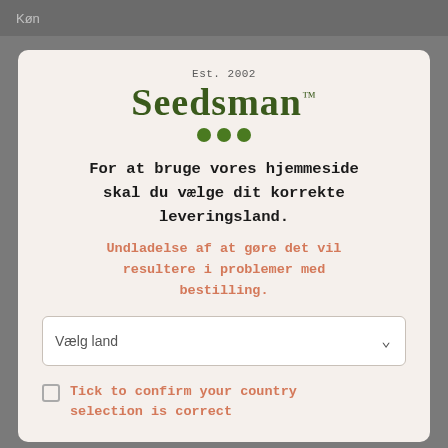Køn
Est. 2002
Seedsman™
For at bruge vores hjemmeside skal du vælge dit korrekte leveringsland.
Undladelse af at gøre det vil resultere i problemer med bestilling.
Vælg land
Tick to confirm your country selection is correct